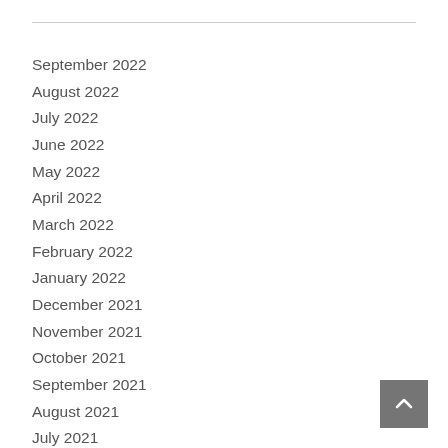September 2022
August 2022
July 2022
June 2022
May 2022
April 2022
March 2022
February 2022
January 2022
December 2021
November 2021
October 2021
September 2021
August 2021
July 2021
June 2021
May 2021
April 2021